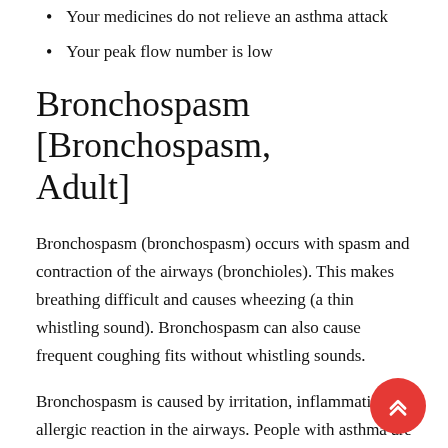Your medicines do not relieve an asthma attack
Your peak flow number is low
Bronchospasm [Bronchospasm, Adult]
Bronchospasm (bronchospasm) occurs with spasm and contraction of the airways (bronchioles). This makes breathing difficult and causes wheezing (a thin whistling sound). Bronchospasm can also cause frequent coughing fits without whistling sounds.
Bronchospasm is caused by irritation, inflammation or allergic reaction in the airways. People with asthma are prone to bronchospasm.However, not all patients with bronchospasm have asthma.